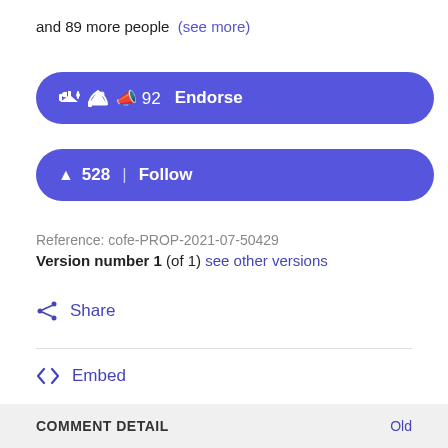and 89 more people (see more)
[Figure (other): Blue rounded button with megaphone icon showing '92 Endorse']
[Figure (other): Blue rounded button with bell icon showing '528 | Follow']
Reference: cofe-PROP-2021-07-50429
Version number 1 (of 1) see other versions
Share
Embed
COMMENT DETAIL